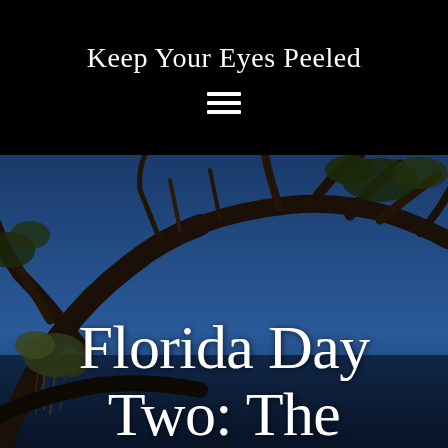Keep Your Eyes Peeled
[Figure (photo): Photograph looking up at tree branches with Spanish moss/air plants against a deep blue sky, taken in Florida. Dark silhouettes of branches spread across the frame. Large overlaid white serif text reads 'Florida Day Two: The']
Florida Day Two: The